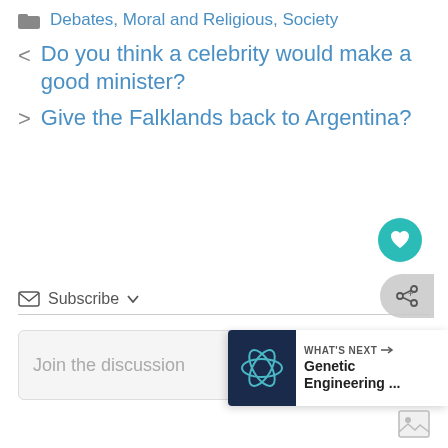Debates, Moral and Religious, Society
< Do you think a celebrity would make a good minister?
> Give the Falklands back to Argentina?
Subscribe
Join the discussion
WHAT'S NEXT → Genetic Engineering ...